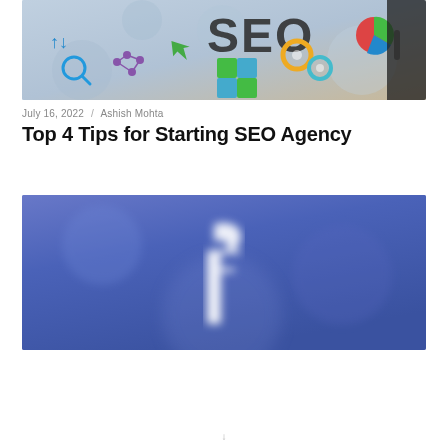[Figure (photo): SEO concept image showing the word SEO written on a surface with digital marketing icons including arrows, magnifying glass, gears, puzzle pieces, pie chart, and a hand in a suit holding a marker]
July 16, 2022 / Ashish Mohta
Top 4 Tips for Starting SEO Agency
[Figure (photo): Blurred blue background with a white Facebook logo icon in the lower center, blurred out of focus]